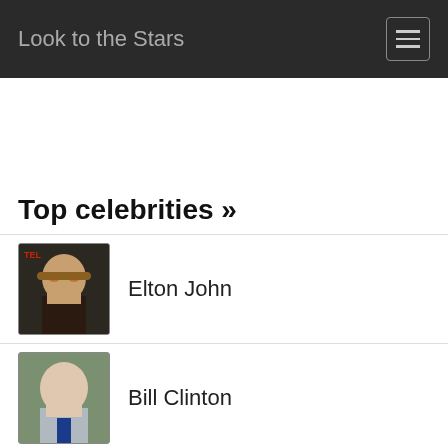Look to the Stars
Top celebrities »
Elton John
Bill Clinton
Sting